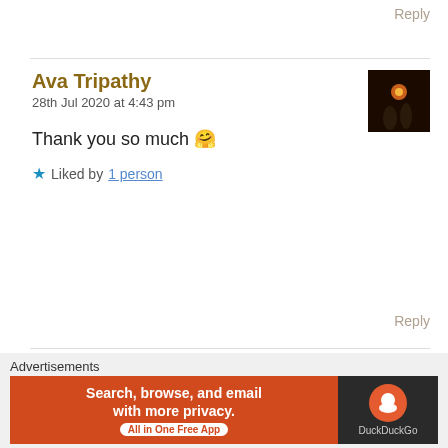Reply
Ava Tripathy
28th Jul 2020 at 4:43 pm
[Figure (photo): Profile avatar of Ava Tripathy - dark image with silhouettes and orange light]
Thank you so much 🤗
★ Liked by 1 person
Reply
Shashank Narayan
6th Aug 2020 at 1:20 pm
[Figure (photo): Profile avatar of Shashank Narayan - person with glasses]
Advertisements
Search, browse, and email with more privacy. All in One Free App — DuckDuckGo